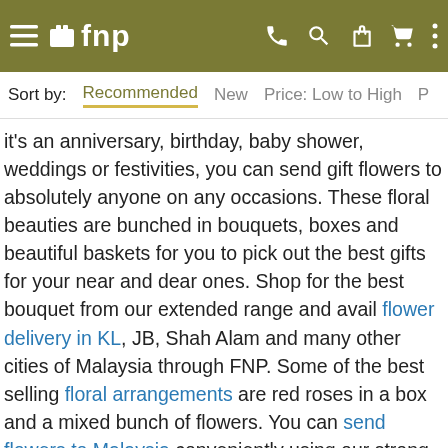fnp — navigation bar with hamburger menu, logo, phone, search, gift, cart, more icons
Sort by: Recommended New Price: Low to High P…
it's an anniversary, birthday, baby shower, weddings or festivities, you can send gift flowers to absolutely anyone on any occasions. These floral beauties are bunched in bouquets, boxes and beautiful baskets for you to pick out the best gifts for your near and dear ones. Shop for the best bouquet from our extended range and avail flower delivery in KL, JB, Shah Alam and many other cities of Malaysia through FNP. Some of the best selling floral arrangements are red roses in a box and a mixed bunch of flowers. You can send flowers to Malaysia conveniently using our strong delivery network. We are sure that your loved ones will adore your surprise. FNP assure you of hassle-free and timely delivery services.
Send Fresh Flower Bouquet in Malaysia through FNP